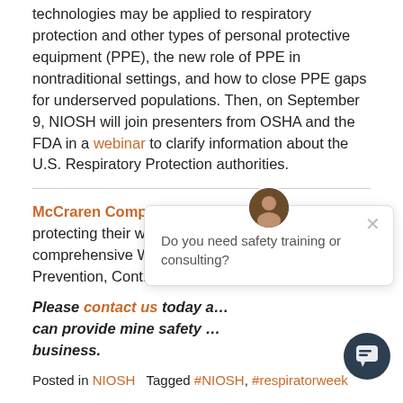technologies may be applied to respiratory protection and other types of personal protective equipment (PPE), the new role of PPE in nontraditional settings, and how to close PPE gaps for underserved populations. Then, on September 9, NIOSH will join presenters from OSHA and the FDA in a webinar to clarify information about the U.S. Respiratory Protection authorities.
McCraren Compliance assists employers in protecting their workers, starting with a comprehensive Work-site Analysis, Hazard Prevention, Controls, and Safety & Health Training.
Please contact us today a... can provide mine safety ... business.
Posted in NIOSH   Tagged #NIOSH, #respiratorweek
Machinist dies after being pulled